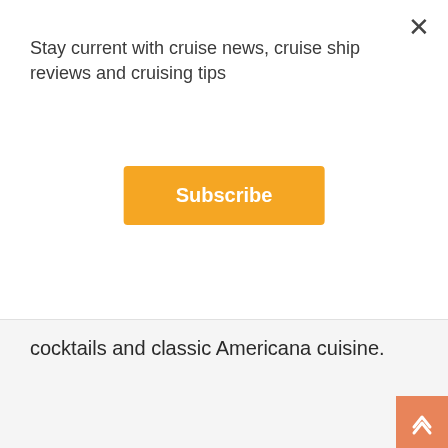Stay current with cruise news, cruise ship reviews and cruising tips
Subscribe
cocktails and classic Americana cuisine.